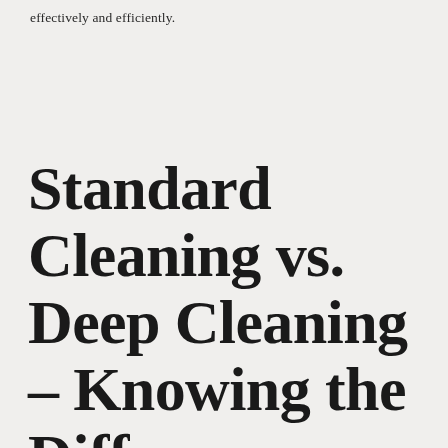effectively and efficiently.
Standard Cleaning vs. Deep Cleaning – Knowing the Difference